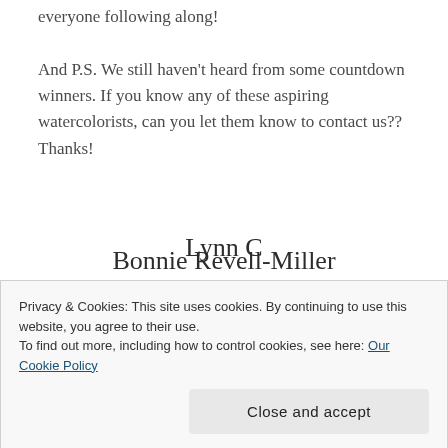everyone following along!

And P.S. We still haven't heard from some countdown winners. If you know any of these aspiring watercolorists, can you let them know to contact us?? Thanks!
Bonnie Revell-Miller
Beverly Sizemore
Debbie Cooper
Lynn C
Privacy & Cookies: This site uses cookies. By continuing to use this website, you agree to their use.
To find out more, including how to control cookies, see here: Our Cookie Policy
Close and accept